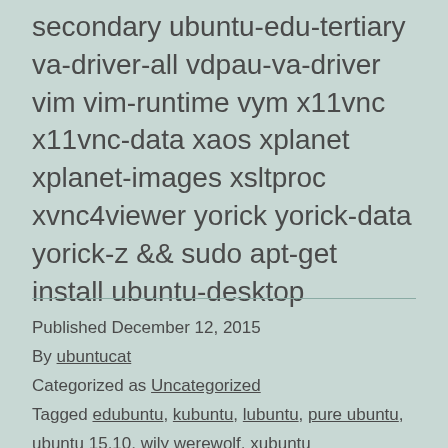secondary ubuntu-edu-tertiary va-driver-all vdpau-va-driver vim vim-runtime vym x11vnc x11vnc-data xaos xplanet xplanet-images xsltproc xvnc4viewer yorick yorick-data yorick-z && sudo apt-get install ubuntu-desktop
Published December 12, 2015
By ubuntucat
Categorized as Uncategorized
Tagged edubuntu, kubuntu, lubuntu, pure ubuntu, ubuntu 15.10, wily werewolf, xubuntu